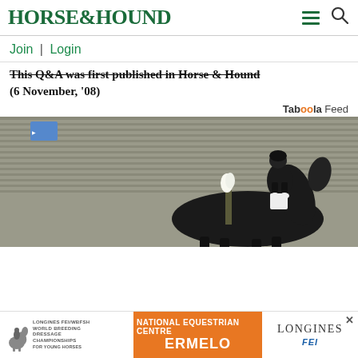HORSE&HOUND
Join | Login
This Q&A was first published in Horse & Hound (6 November, '08)
Taboola Feed
[Figure (photo): Dressage rider in black formal attire and helmet riding a dark horse in an indoor arena with grey corrugated metal walls]
[Figure (infographic): Advertisement banner for Longines FEI/WBFSH World Breeding Dressage Championships for Young Horses at National Equestrian Centre Ermelo, featuring Longines and FEI logos]